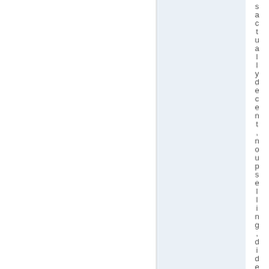s a c t u a l l y d e c e n t , n o u p s e l l i n g , d i d e